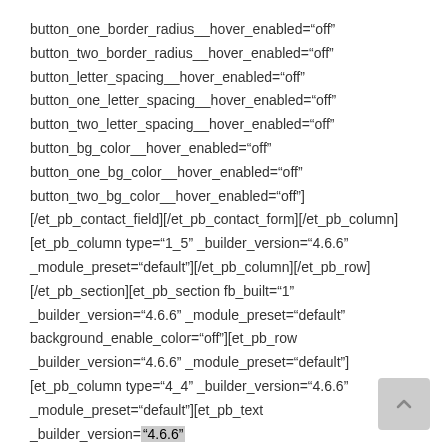button_one_border_radius__hover_enabled="off"
button_two_border_radius__hover_enabled="off"
button_letter_spacing__hover_enabled="off"
button_one_letter_spacing__hover_enabled="off"
button_two_letter_spacing__hover_enabled="off"
button_bg_color__hover_enabled="off"
button_one_bg_color__hover_enabled="off"
button_two_bg_color__hover_enabled="off"]
[/et_pb_contact_field][/et_pb_contact_form][/et_pb_column]
[et_pb_column type="1_5" _builder_version="4.6.6"
_module_preset="default"][/et_pb_column][/et_pb_row]
[/et_pb_section][et_pb_section fb_built="1"
_builder_version="4.6.6" _module_preset="default"
background_enable_color="off"][et_pb_row
_builder_version="4.6.6" _module_preset="default"]
[et_pb_column type="4_4" _builder_version="4.6.6"
_module_preset="default"][et_pb_text _builder_version="4.6.6"
_module_preset="default" text_orientation="center"]